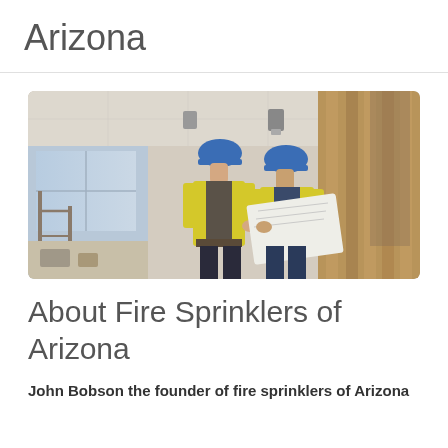Arizona
[Figure (photo): Two construction workers wearing blue hard hats and yellow high-visibility vests reviewing blueprints inside a building under construction.]
About Fire Sprinklers of Arizona
John Bobson the founder of fire sprinklers of Arizona